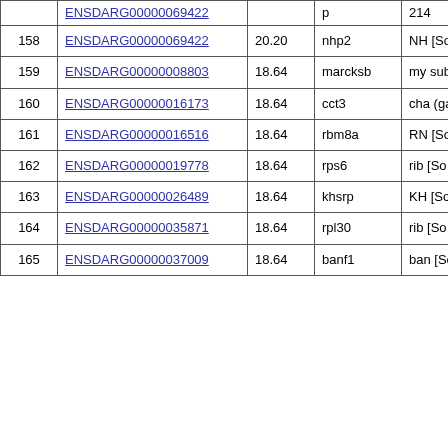|  | Gene ID | Score | Symbol | Description |
| --- | --- | --- | --- | --- |
|  | ENSDARG00000069422 (partial) |  | p... | 214... |
| 158 | ENSDARG00000069422 | 20.20 | nhp2 | NH... [So... |
| 159 | ENSDARG00000008803 | 18.64 | marcksb | my... sub... 030... |
| 160 | ENSDARG00000016173 | 18.64 | cct3 | cha... (ga... 020... |
| 161 | ENSDARG00000016516 | 18.64 | rbm8a | RN... [So... |
| 162 | ENSDARG00000019778 | 18.64 | rps6 | rib... [So... |
| 163 | ENSDARG00000026489 | 18.64 | khsrp | KH... [So... 433... |
| 164 | ENSDARG00000035871 | 18.64 | rpl30 | rib... [So... 865... |
| 165 | ENSDARG00000037009 | 18.64 | banf1 | ban... [So... 665... |